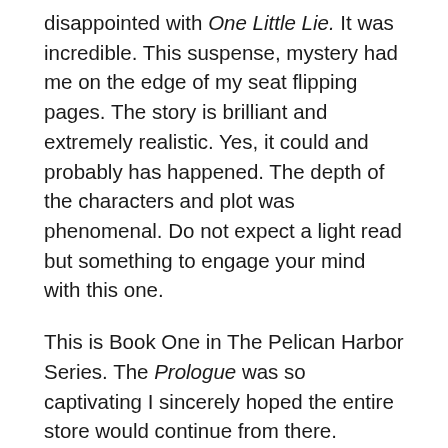disappointed with One Little Lie. It was incredible. This suspense, mystery had me on the edge of my seat flipping pages. The story is brilliant and extremely realistic. Yes, it could and probably has happened. The depth of the characters and plot was phenomenal. Do not expect a light read but something to engage your mind with this one.
This is Book One in The Pelican Harbor Series. The Prologue was so captivating I sincerely hoped the entire store would continue from there. Obviously it was only a bit of history, but it whet my appetite for the main course.
This is the story of Sheriff Jane Hardy. She is a feisty petite law enforcement officer with a troublesome past. Reid Bechtol is a famous newsperson that has come to do a documentary on small town police departments. When dead bodies begin to show up he is there to offer his assistance to Jane.